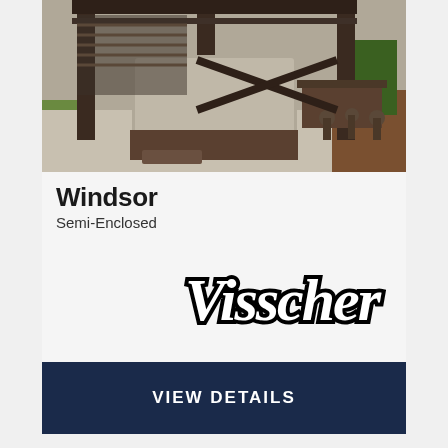[Figure (photo): Outdoor gazebo/pergola with dark wood frame, a hot tub covered with a grey lid, bar stools, and landscaping in the background]
Windsor
Semi-Enclosed
[Figure (logo): Visscher brand logo in bold cursive script with black outline and white fill]
VIEW DETAILS